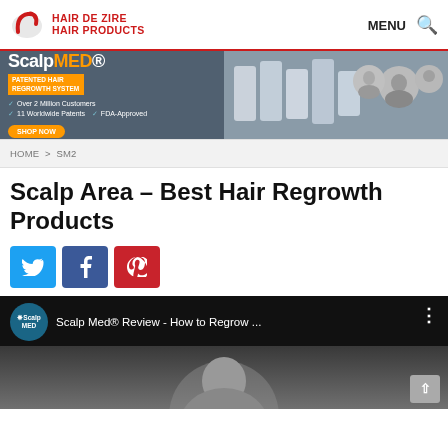HAIR DE ZIRE HAIR PRODUCTS | MENU
[Figure (infographic): ScalpMED advertisement banner: Patented Hair Regrowth System, Over 2 Million Customers, 11 Worldwide Patents, FDA-Approved, SHOP NOW button, product images on right]
HOME > SM2
Scalp Area – Best Hair Regrowth Products
[Figure (infographic): Twitter, Facebook, and Pinterest share buttons]
[Figure (screenshot): YouTube video embed: Scalp Med® Review - How to Regrow ... with ScalpMED channel logo circle, three-dot menu, and video thumbnail showing a person]